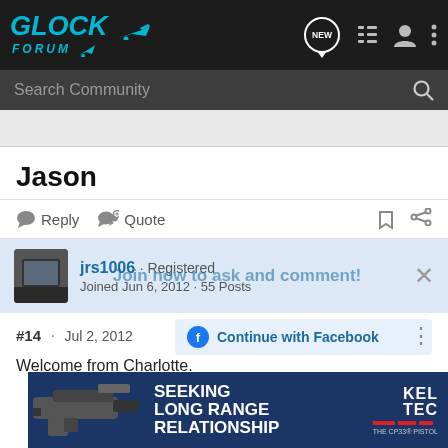GLOCK FORUM
Search Community
Jason
Reply  Quote
jrs1006 · Registered
Joined Jun 6, 2012 · 55 Posts
#14 · Jul 2, 2012
Welcome from Charlotte.
[Figure (screenshot): Kel-Tec CP33 pistol advertisement banner: SEEKING LONG RANGE RELATIONSHIP]